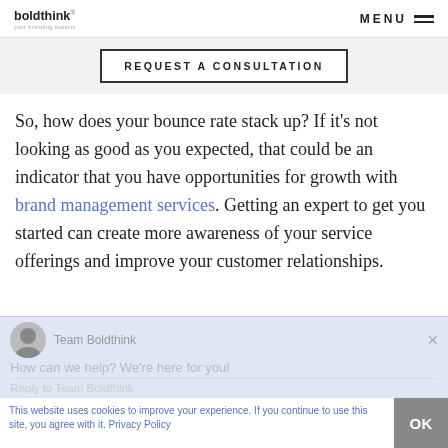boldthink® | MENU
REQUEST A CONSULTATION
So, how does your bounce rate stack up? If it's not looking as good as you expected, that could be an indicator that you have opportunities for growth with brand management services. Getting an expert to get you started can create more awareness of your service offerings and improve your customer relationships.
Team Boldthink
How can we help? We're here for you!
This website uses cookies to improve your experience. If you continue to use this site, you agree with it. Privacy Policy
Reply to Team Boldthink